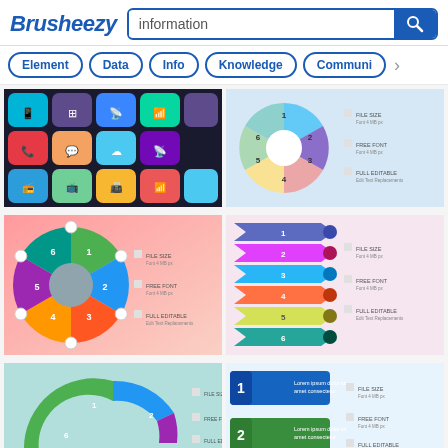Brusheezy — information search
Element
Data
Info
Knowledge
Communi…
[Figure (screenshot): Grid of colorful mobile/technology flat icons on dark background]
[Figure (infographic): Circular pie-style infographic with 6 segments numbered 1-6, icons, on light blue background]
[Figure (infographic): Colorful wheel/donut infographic with 6 sections numbered 1-6, icons, on pink gradient background]
[Figure (infographic): Horizontal arrow ribbon infographic with 6 steps numbered 1-6 on pink/light background]
[Figure (infographic): Partial view: arch/semi-circle infographic with 6 sections numbered 1-6 with icons on teal-green background]
[Figure (infographic): Horizontal banner/card infographic with 2 visible numbered items 1-2 on light blue background]